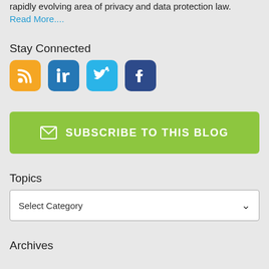rapidly evolving area of privacy and data protection law.
Read More....
Stay Connected
[Figure (infographic): Social media icons: RSS (orange), LinkedIn (blue), Twitter (light blue), Facebook (dark blue)]
SUBSCRIBE TO THIS BLOG
Topics
Select Category
Archives